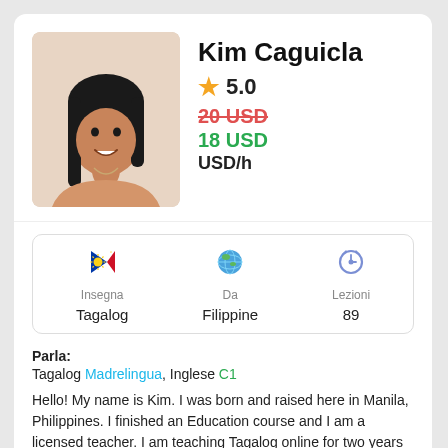[Figure (photo): Profile photo of Kim Caguicla, a young woman with long dark hair wearing a peach/salmon colored top, smiling, against a beige background]
Kim Caguicla
★ 5.0
20 USD (strikethrough) 18 USD USD/h
Insegna Tagalog | Da Filippine | Lezioni 89
Parla: Tagalog Madrelingua, Inglese C1
Hello! My name is Kim. I was born and raised here in Manila, Philippines. I finished an Education course and I am a licensed teacher. I am teaching Tagalog online for two years now. [WHY ME?] - Native Filipino - English
Leggi altro